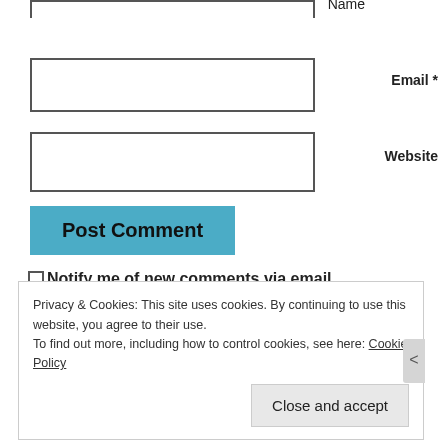[Figure (screenshot): Partial name input field at top of page, cut off]
Email *
[Figure (screenshot): Email text input field]
Website
[Figure (screenshot): Website text input field]
[Figure (screenshot): Post Comment button (blue)]
Notify me of new comments via email.
Notify me of new posts via email.
Privacy & Cookies: This site uses cookies. By continuing to use this website, you agree to their use.
To find out more, including how to control cookies, see here: Cookie Policy
Close and accept